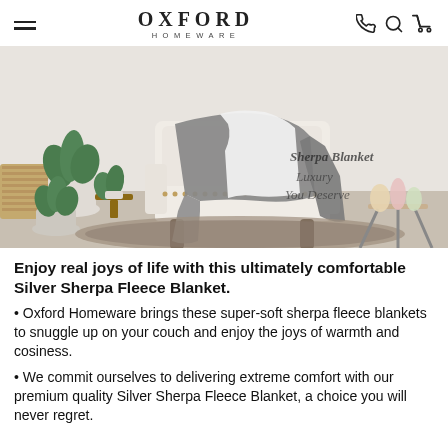OXFORD HOMEWARE
[Figure (photo): A gray sherpa fleece blanket draped over a white armchair in a living room setting with plants. Cursive text on the image reads 'Sherpa Blanket Luxury You Deserve'.]
Enjoy real joys of life with this ultimately comfortable Silver Sherpa Fleece Blanket.
Oxford Homeware brings these super-soft sherpa fleece blankets to snuggle up on your couch and enjoy the joys of warmth and cosiness.
We commit ourselves to delivering extreme comfort with our premium quality Silver Sherpa Fleece Blanket, a choice you will never regret.